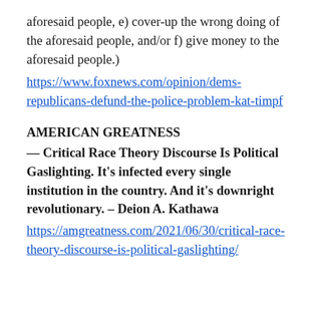aforesaid people, e) cover-up the wrong doing of the aforesaid people, and/or f) give money to the aforesaid people.)
https://www.foxnews.com/opinion/dems-republicans-defund-the-police-problem-kat-timpf
AMERICAN GREATNESS
— Critical Race Theory Discourse Is Political Gaslighting. It's infected every single institution in the country. And it's downright revolutionary. – Deion A. Kathawa
https://amgreatness.com/2021/06/30/critical-race-theory-discourse-is-political-gaslighting/